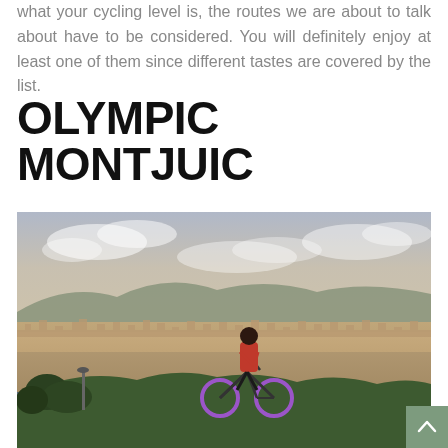what your cycling level is, the routes we are about to talk about have to be considered. You will definitely enjoy at least one of them since different tastes are covered by the list.
OLYMPIC MONTJUIC
[Figure (photo): Person standing with a bicycle with purple wheels on a hill, looking out over a panoramic cityscape (Barcelona) under a cloudy sky]
[Figure (other): Sage/olive green button with a white upward arrow, back-to-top navigation element]